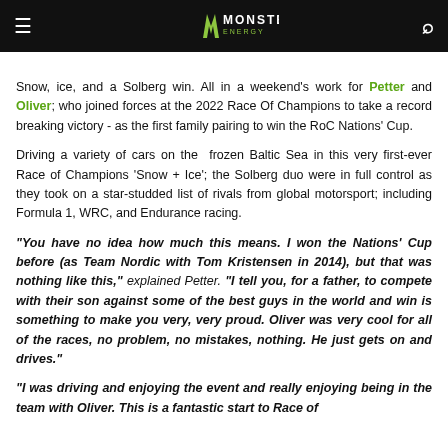Monster Energy (logo header)
Snow, ice, and a Solberg win. All in a weekend’s work for Petter and Oliver; who joined forces at the 2022 Race Of Champions to take a record breaking victory - as the first family pairing to win the RoC Nations’ Cup.
Driving a variety of cars on the frozen Baltic Sea in this very first-ever Race of Champions ‘Snow + Ice’; the Solberg duo were in full control as they took on a star-studded list of rivals from global motorsport; including Formula 1, WRC, and Endurance racing.
“You have no idea how much this means. I won the Nations’ Cup before (as Team Nordic with Tom Kristensen in 2014), but that was nothing like this,” explained Petter. “I tell you, for a father, to compete with their son against some of the best guys in the world and win is something to make you very, very proud. Oliver was very cool for all of the races, no problem, no mistakes, nothing. He just gets on and drives.”
“I was driving and enjoying the event and really enjoying being in the team with Oliver. This is a fantastic start to Race of